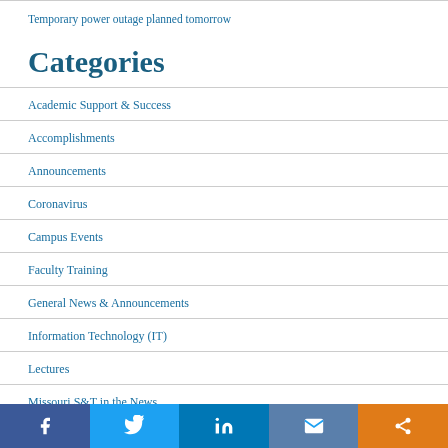Temporary power outage planned tomorrow
Categories
Academic Support & Success
Accomplishments
Announcements
Coronavirus
Campus Events
Faculty Training
General News & Announcements
Information Technology (IT)
Lectures
Missouri S&T in the News
New Employees
Facebook Twitter LinkedIn Email Share